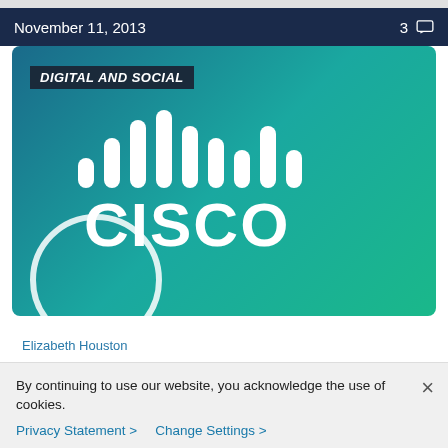November 11, 2013   3
[Figure (logo): Cisco logo on teal/blue gradient background with 'DIGITAL AND SOCIAL' category label and white circle accent in bottom-left corner]
Elizabeth Houston
Exploring 2014 Digital and Social Media Trends
By continuing to use our website, you acknowledge the use of cookies.
Privacy Statement >   Change Settings >